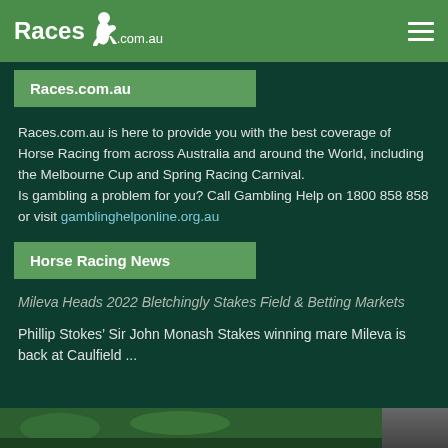Races.com.au
Races.com.au
Races.com.au is here to provide you with the best coverage of Horse Racing from across Australia and around the World, including the Melbourne Cup and Spring Racing Carnival. Is gambling a problem for you? Call Gambling Help on 1800 858 858 or visit gamblinghelponline.org.au
Horse Racing News
Mileva Heads 2022 Bletchingly Stakes Field & Betting Markets
Phillip Stokes’ Sir John Monash Stakes winning mare Mileva is back at Caulfield ...
[Figure (photo): Photo thumbnail at bottom of page showing horse racing imagery]